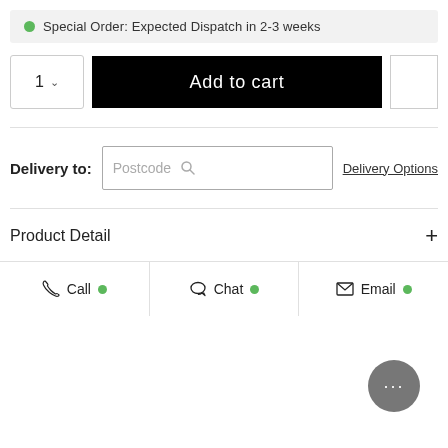Special Order: Expected Dispatch in 2-3 weeks
1  Add to cart
Delivery to:  Postcode  Delivery Options
Product Detail  +
Call  Chat  Email